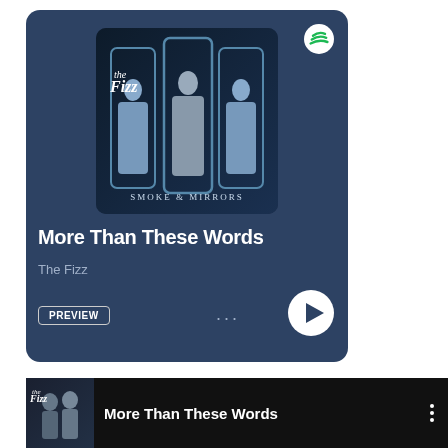[Figure (screenshot): Spotify music player card showing album art for 'Smoke & Mirrors' by The Fizz, with song title 'More Than These Words', artist name 'The Fizz', a PREVIEW button, three-dots menu, and a play button. Background is dark blue.]
[Figure (screenshot): Bottom video strip showing a YouTube-style video entry for 'More Than These Words' with a thumbnail of band members, song title text in white on black background, and a vertical three-dots menu icon.]